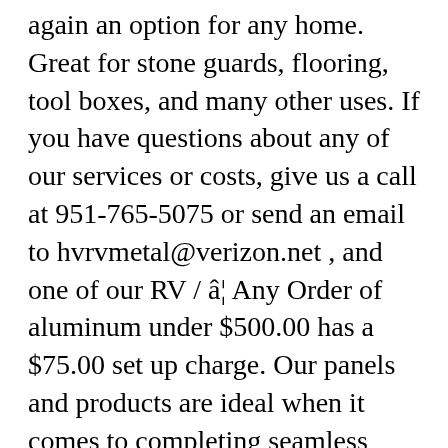again an option for any home. Great for stone guards, flooring, tool boxes, and many other uses. If you have questions about any of our services or costs, give us a call at 951-765-5075 or send an email to hvrvmetal@verizon.net , and one of our RV / â¦ Any Order of aluminum under $500.00 has a $75.00 set up charge. Our panels and products are ideal when it comes to completing seamless repairs to siding, roofing and edging on your vehicle. If your aluminum siding does become damaged, unlike most other siding products, you only need to repair the specific spot. No matter what size pieces you need, we can order it for